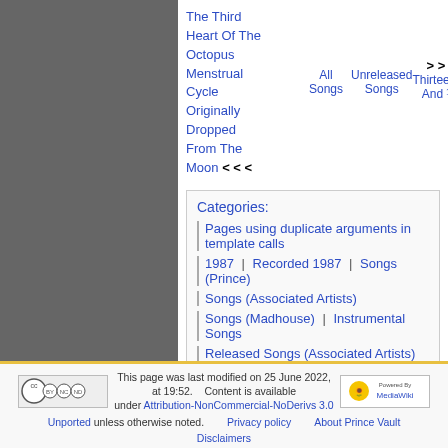The Third Heart Of The Octopus Menstrual Cycle Originally Dropped From The Moon <<< | All Songs | Unreleased Songs | >>> Thirteen And ¼
Categories:
Pages using duplicate arguments in template calls
1987 | Recorded 1987 | Songs (Prince)
Songs (Associated Artists)
Songs (Madhouse) | Instrumental Songs
Released Songs (Associated Artists)
This page was last modified on 25 June 2022, at 19:52. Content is available under Attribution-NonCommercial-NoDerivs 3.0 Unported unless otherwise noted. Privacy policy About Prince Vault Disclaimers